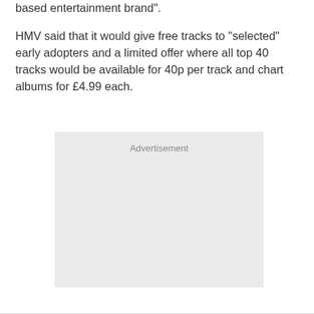based entertainment brand".
HMV said that it would give free tracks to "selected" early adopters and a limited offer where all top 40 tracks would be available for 40p per track and chart albums for £4.99 each.
[Figure (other): Advertisement placeholder box with grey background and 'Advertisement' label at top center]